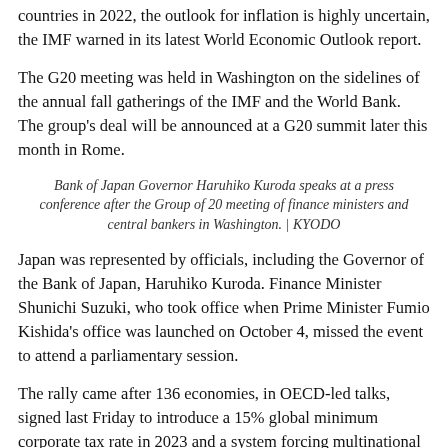countries in 2022, the outlook for inflation is highly uncertain, the IMF warned in its latest World Economic Outlook report.
The G20 meeting was held in Washington on the sidelines of the annual fall gatherings of the IMF and the World Bank. The group's deal will be announced at a G20 summit later this month in Rome.
Bank of Japan Governor Haruhiko Kuroda speaks at a press conference after the Group of 20 meeting of finance ministers and central bankers in Washington. | KYODO
Japan was represented by officials, including the Governor of the Bank of Japan, Haruhiko Kuroda. Finance Minister Shunichi Suzuki, who took office when Prime Minister Fumio Kishida's office was launched on October 4, missed the event to attend a parliamentary session.
The rally came after 136 economies, in OECD-led talks, signed last Friday to introduce a 15% global minimum corporate tax rate in 2023 and a system forcing multinational companies to